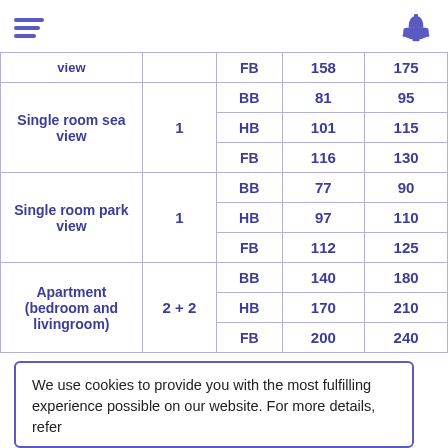[hamburger menu icon] [bell/hotel icon]
| Room type | Pax | Meal | Col1 | Col2 |
| --- | --- | --- | --- | --- |
|  |  | FB | 158 | 175 |
| Single room sea view | 1 | BB | 81 | 95 |
| Single room sea view | 1 | HB | 101 | 115 |
| Single room sea view | 1 | FB | 116 | 130 |
| Single room park view | 1 | BB | 77 | 90 |
| Single room park view | 1 | HB | 97 | 110 |
| Single room park view | 1 | FB | 112 | 125 |
| Apartment (bedroom and livingroom) | 2 + 2 | BB | 140 | 180 |
| Apartment (bedroom and livingroom) | 2 + 2 | HB | 170 | 210 |
| Apartment (bedroom and livingroom) | 2 + 2 | FB | 200 | 240 |
We use cookies to provide you with the most fulfilling experience possible on our website. For more details, refer